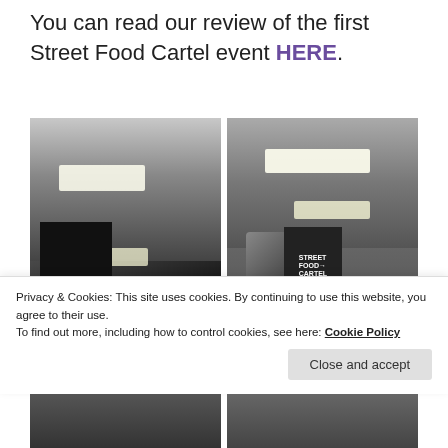You can read our review of the first Street Food Cartel event HERE.
[Figure (photo): Two side-by-side photos of an industrial indoor venue space with fluorescent lighting on the ceiling. Left photo shows a dark warehouse-style room with brick walls, doorways, and overhead lights. Right photo shows a similar space with a food truck or caravan in the background, a painted sign reading 'STREET FOOD → CARTEL', and a person standing in the background.]
Privacy & Cookies: This site uses cookies. By continuing to use this website, you agree to their use.
To find out more, including how to control cookies, see here: Cookie Policy
[Figure (photo): Bottom strip showing two partially visible photos of additional views of the Street Food Cartel venue.]